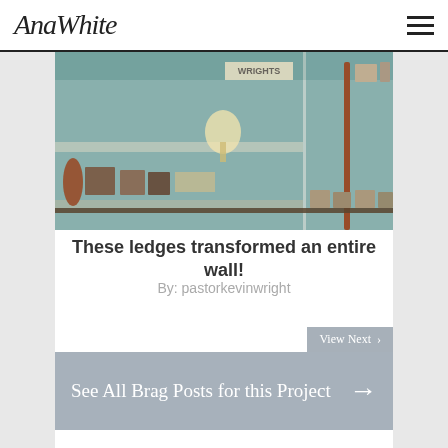AnaWhite
[Figure (photo): Interior room photo showing wall ledges/shelves with frames, decor, and a 'WRIGHTS' sign, with teal/green walls]
These ledges transformed an entire wall!
By: pastorkevinwright
View Next →
See All Brag Posts for this Project →